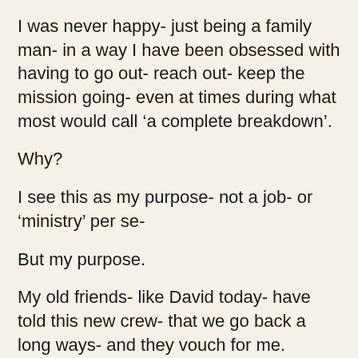I was never happy- just being a family man- in a way I have been obsessed with having to go out- reach out- keep the mission going- even at times during what most would call ‘a complete breakdown’.
Why?
I see this as my purpose- not a job- or ‘ministry’ per se-
But my purpose.
My old friends- like David today- have told this new crew- that we go back a long ways- and they vouch for me.
As we got back to Corpus- I spent the rest of the day with the guys at the halfway house.
We all had some good fellowship- in the mix of it all-